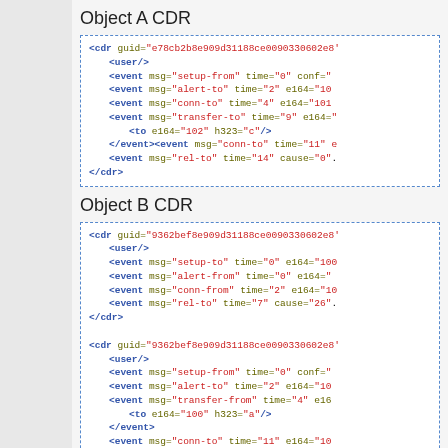Object A CDR
[Figure (other): XML CDR code block for Object A showing cdr element with guid, user, and event sub-elements]
Object B CDR
[Figure (other): XML CDR code blocks for Object B showing two cdr elements each with guid, user, and event sub-elements]
Object C CDR